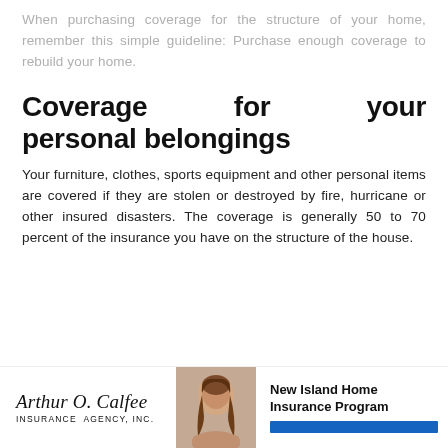When purchasing coverage for the structure of your home, remember this simple guideline: Purchase enough coverage to rebuild your home.
Coverage for your personal belongings
Your furniture, clothes, sports equipment and other personal items are covered if they are stolen or destroyed by fire, hurricane or other insured disasters. The coverage is generally 50 to 70 percent of the insurance you have on the structure of the house.
[Figure (logo): Arthur O. Calfee Insurance Agency, Inc. logo in script font]
[Figure (photo): Photo of a woman with brown hair]
New Island Home Insurance Program